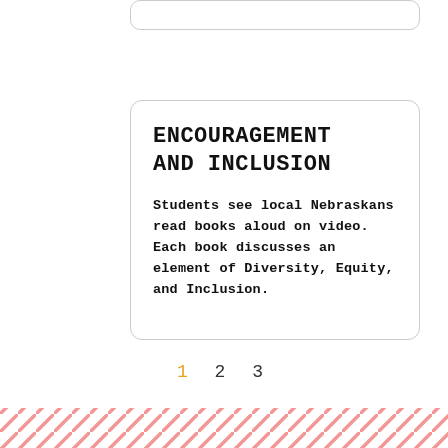ENCOURAGEMENT AND INCLUSION
Students see local Nebraskans read books aloud on video. Each book discusses an element of Diversity, Equity, and Inclusion.
1 2 3